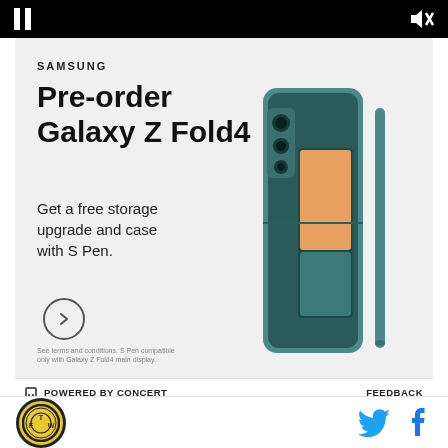[Figure (screenshot): Video player controls bar: pause button (two vertical bars) on left, mute/speaker icon with X on right, black background]
[Figure (screenshot): Samsung advertisement for Galaxy Z Fold4. Text: SAMSUNG, Pre-order Galaxy Z Fold4, Get a free storage upgrade and case with S Pen. Shows product image of teal folding phone with stylus. Circle arrow CTA button. Fine print at bottom.]
⊟ POWERED BY CONCERT   FEEDBACK
This has obvious ramifications on the entire transfer market. Real Madrid will be on the lookout for a new superstar (or two) and will be probably be eager to
TFW logo | Twitter icon | Facebook icon